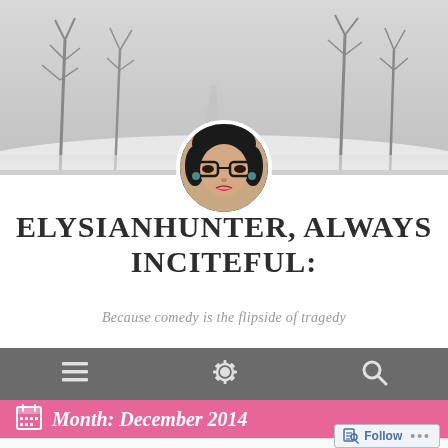[Figure (photo): Winter landscape banner with bare snow-covered trees, black and white tones, with circular profile photo of a woman with black hair, glasses, and red lipstick overlapping the bottom of the banner.]
ELYSIANHUNTER, ALWAYS INCITEFUL:
Because comedy is the flipside of tragedy
[Figure (other): Navigation bar with three icons: hamburger menu (three horizontal lines), gear/settings icon, and magnifying glass search icon, on dark gray background.]
Month: December 2014
Follow ...